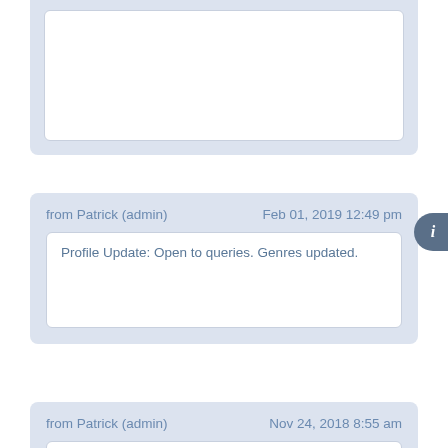[partial card at top — no content visible]
from Patrick (admin)   Feb 01, 2019 12:49 pm
Profile Update: Open to queries. Genres updated.
from Patrick (admin)   Nov 24, 2018 8:55 am
Profile Update: Closed to queries.
[partial card at bottom — cut off]